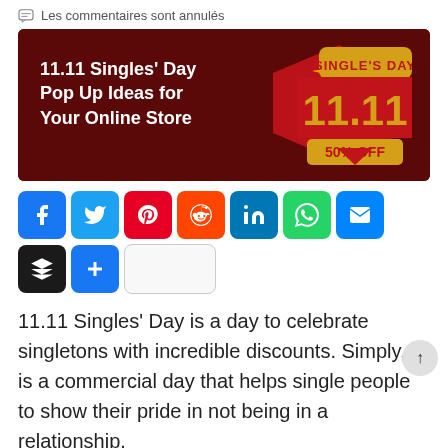Les commentaires sont annulés
[Figure (illustration): 11.11 Singles' Day Pop Up Ideas for Your Online Store — promotional banner with dark red background, gold '11.11' text on a red ribbon badge, 'SINGLE'S DAY' label, '50% OFF' text]
[Figure (infographic): Social share buttons row: Facebook, Twitter, Pinterest, Reddit, LinkedIn, WhatsApp, Email, Buffer/Stack, Add (+), and a share count box]
11.11 Singles' Day is a day to celebrate singletons with incredible discounts. Simply, it is a commercial day that helps single people to show their pride in not being in a relationship.